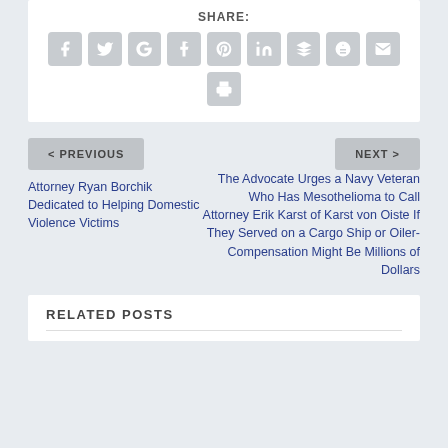[Figure (infographic): Social sharing buttons: SHARE label with icons for Facebook, Twitter, Google+, Tumblr, Pinterest, LinkedIn, Buffer, StumbleUpon, Email, and Print]
< PREVIOUS
NEXT >
Attorney Ryan Borchik Dedicated to Helping Domestic Violence Victims
The Advocate Urges a Navy Veteran Who Has Mesothelioma to Call Attorney Erik Karst of Karst von Oiste If They Served on a Cargo Ship or Oiler- Compensation Might Be Millions of Dollars
RELATED POSTS